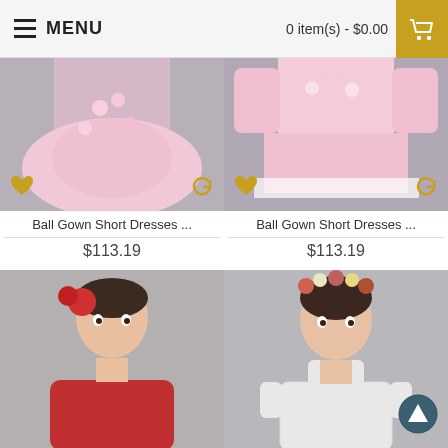MENU   0 item(s) - $0.00
[Figure (photo): Pink ball gown short dress with floral appliques on a child model, gray background. Heart and refresh icons overlay at bottom corners.]
Ball Gown Short Dresses ...
$113.19
[Figure (photo): Pink ball gown short dress with lace hem and long sleeves on a child model, gray background. Heart and refresh icons overlay at bottom corners.]
Ball Gown Short Dresses ...
$113.19
[Figure (photo): Child model wearing red sleeveless dress with red floral hair accessory, gray background.]
[Figure (photo): Child model wearing white short-sleeve lace dress with floral crown, gray background.]